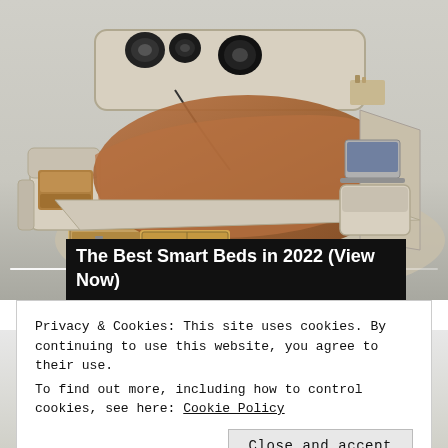[Figure (photo): Photograph of a multi-functional smart bed with built-in speakers, storage drawers, massage chair, laptop tray, and various accessories. The bed has a cream/beige leather frame and is shown with an orange/rust colored blanket. It has open drawers underneath, a reclining seat on the left, and appears to be a product promotional image.]
The Best Smart Beds in 2022 (View Now)
[Figure (photo): Partially visible image below the cookie banner, appears to show a person or subject at the bottom of the page.]
Privacy & Cookies: This site uses cookies. By continuing to use this website, you agree to their use.
To find out more, including how to control cookies, see here: Cookie Policy